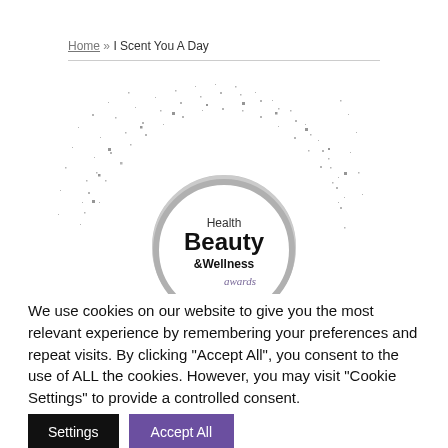Home » I Scent You A Day
[Figure (logo): Health Beauty & Wellness awards logo with sparkle/glitter particle burst effect in black and white, circular badge design]
We use cookies on our website to give you the most relevant experience by remembering your preferences and repeat visits. By clicking "Accept All", you consent to the use of ALL the cookies. However, you may visit "Cookie Settings" to provide a controlled consent.
Settings
Accept All